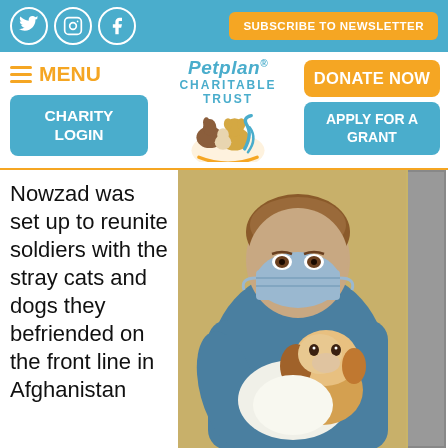SUBSCRIBE TO NEWSLETTER
[Figure (logo): Petplan Charitable Trust logo with horse and dog animal illustration]
MENU
CHARITY LOGIN
DONATE NOW
APPLY FOR A GRANT
Nowzad was set up to reunite soldiers with the stray cats and dogs they befriended on the front line in Afghanistan
[Figure (photo): A person wearing a blue mask and blue shirt holding a brown and white dog/puppy indoors]